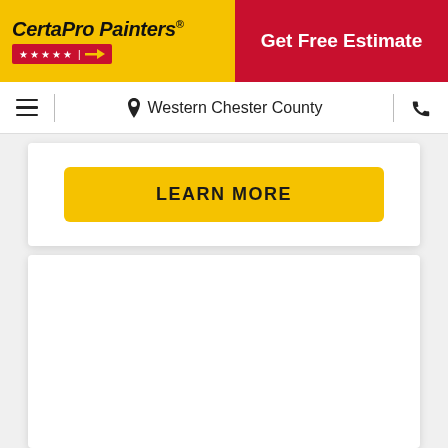CertaPro Painters® | Get Free Estimate
Western Chester County
LEARN MORE